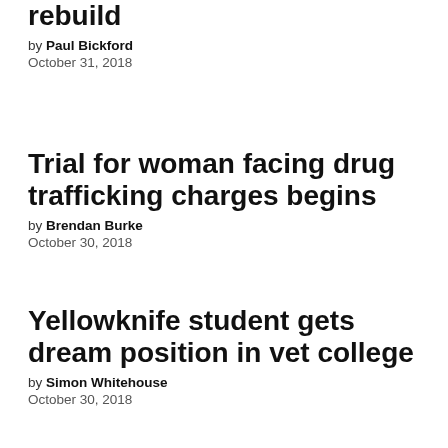rebuild
by Paul Bickford
October 31, 2018
Trial for woman facing drug trafficking charges begins
by Brendan Burke
October 30, 2018
Yellowknife student gets dream position in vet college
by Simon Whitehouse
October 30, 2018